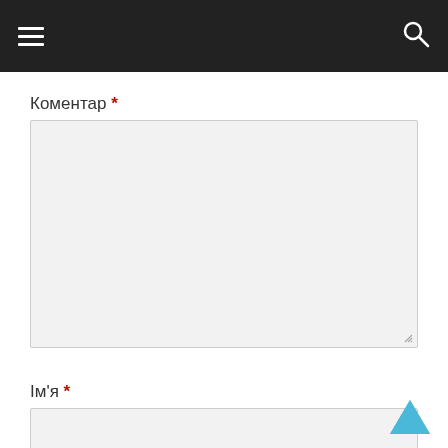[Figure (screenshot): Navigation bar with hamburger menu icon on the left and search icon on the right, dark background]
Коментар *
[Figure (screenshot): Large empty textarea input field with light gray background and resize handle in bottom right corner]
Ім'я *
[Figure (screenshot): Single-line text input field with light gray background]